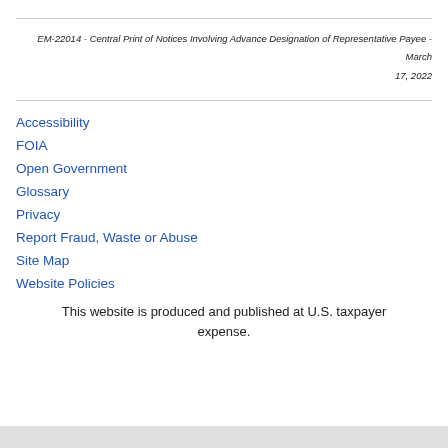EM-22014 - Central Print of Notices Involving Advance Designation of Representative Payee - March 17, 2022
Accessibility
FOIA
Open Government
Glossary
Privacy
Report Fraud, Waste or Abuse
Site Map
Website Policies
This website is produced and published at U.S. taxpayer expense.